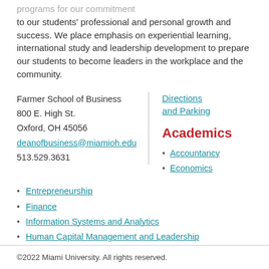programs for our commitment to our students' professional and personal growth and success. We place emphasis on experiential learning, international study and leadership development to prepare our students to become leaders in the workplace and the community.
Farmer School of Business
800 E. High St.
Oxford, OH 45056
deanofbusiness@miamioh.edu
513.529.3631
Directions and Parking
Academics
Accountancy
Economics
Entrepreneurship
Finance
Information Systems and Analytics
Human Capital Management and Leadership
Marketing
Supply Chain and Operations Management
©2022 Miami University. All rights reserved.